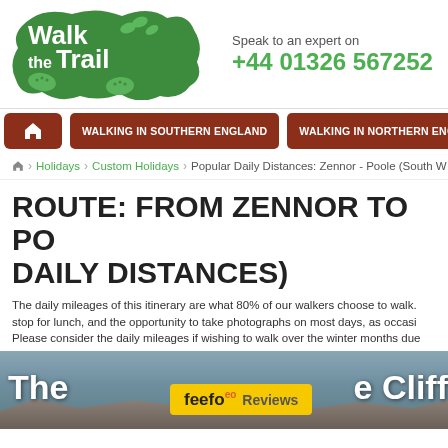[Figure (logo): Walk the Trail logo — green blob shape with white text and boot prints]
Speak to an expert on
+44 01326 567252
[Figure (infographic): Navigation bar with home icon and menu items: WALKING IN SOUTHERN ENGLAND, WALKING IN NORTHERN ENGLAND, WA...]
Holidays › Custom Holidays › Popular Daily Distances: Zennor - Poole (South W...
ROUTE: FROM ZENNOR TO PO... DAILY DISTANCES)
The daily mileages of this itinerary are what 80% of our walkers choose to walk. stop for lunch, and the opportunity to take photographs on most days, as occasi... Please consider the daily mileages if wishing to walk over the winter months due...
[Figure (photo): Coastal cliff scenery with 'The Cliff' text overlay and Feefo reviews badge]